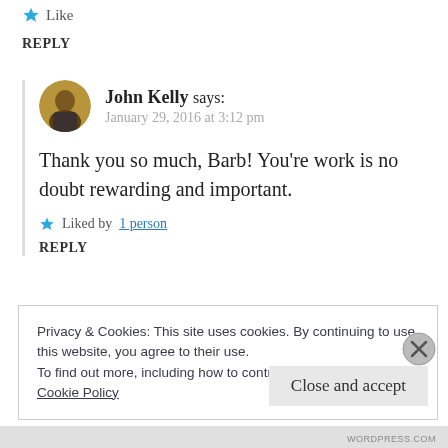★ Like
REPLY
John Kelly says:
January 29, 2016 at 3:12 pm
Thank you so much, Barb! You're work is no doubt rewarding and important.
★ Liked by 1 person
REPLY
Privacy & Cookies: This site uses cookies. By continuing to use this website, you agree to their use.
To find out more, including how to control cookies, see here:
Cookie Policy
Close and accept